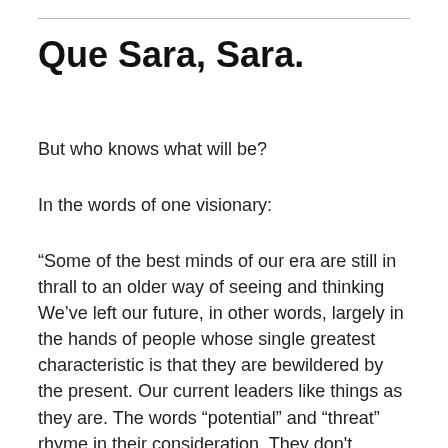Que Sara, Sara.
But who knows what will be?
In the words of one visionary:
“Some of the best minds of our era are still in thrall to an older way of seeing and thinking We’ve left our future, in other words, largely in the hands of people whose single greatest characteristic is that they are bewildered by the present. Our current leaders like things as they are. The words “potential” and “threat” rhyme in their consideration. They don’t appreciate that puzzles such as the future of United States–China relations or income inequality or artificial intelligence or terrorism are all network problems,